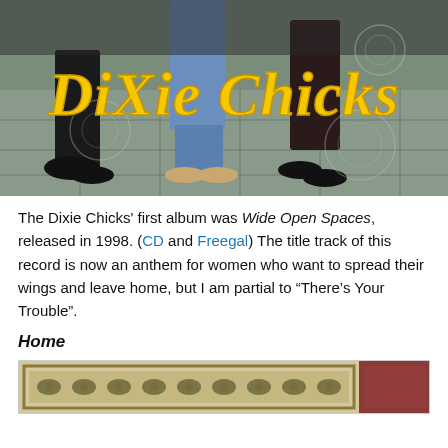[Figure (photo): Album cover photo showing the Dixie Chicks walking, with the text 'Dixie Chicks' in large yellow stylized lettering overlaid on the image.]
The Dixie Chicks' first album was Wide Open Spaces, released in 1998. (CD and Freegal) The title track of this record is now an anthem for women who want to spread their wings and leave home, but I am partial to “There’s Your Trouble”.
Home
[Figure (photo): Partial view of a decorative woven rug or tapestry with ornate patterns in beige/green tones, with a reddish-brown border visible on the right.]